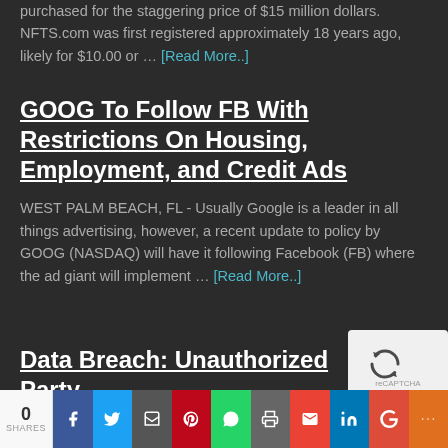purchased for the staggering price of $15 million dollars. NFTS.com was first registered approximately 18 years ago, likely for $10.00 or ... [Read More..]
GOOG To Follow FB With Restrictions On Housing, Employment, and Credit Ads
WEST PALM BEACH, FL - Usually Google is a leader in all things advertising, however, a recent update to policy by GOOG (NASDAQ) will have it following Facebook (FB) where the ad giant will implement ... [Read More..]
Data Breach: Unauthorized Party
[Figure (logo): reCAPTCHA logo box]
0 SHARES | Facebook | Twitter | Email | Pinterest | WhatsApp | Print | Gmail | LinkedIn | Google+ | More